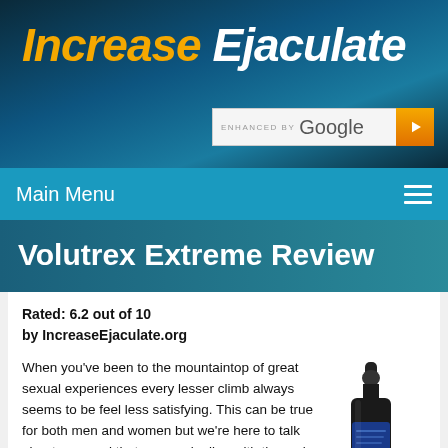Increase Ejaculate
[Figure (screenshot): Search bar with 'ENHANCED BY Google' text and orange search button]
Main Menu
Volutrex Extreme Review
Rated: 6.2 out of 10
by IncreaseEjaculate.org
When you've been to the mountaintop of great sexual experiences every lesser climb always seems to be feel less satisfying. This can be true for both men and women but we're here to talk about men and that means dealing with the male orgasm and everything that means. So, every guy who has been around long enough to have had a lot of orgasms has come to understand that they come in different degrees of satisfaction. There are some that kind of
[Figure (photo): Product bottle - dark glass dropper bottle with blue label]